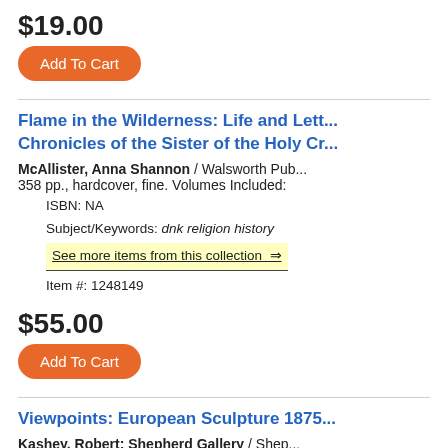$19.00
Add To Cart
Flame in the Wilderness: Life and Lett... Chronicles of the Sister of the Holy Cr...
McAllister, Anna Shannon / Walsworth Pub... 358 pp., hardcover, fine. Volumes Included:
ISBN: NA
Subject/Keywords: dnk religion history
See more items from this collection ⇒
Item #: 1248149
$55.00
Add To Cart
Viewpoints: European Sculpture 1875...
Kashey, Robert; Shepherd Gallery / Shep... 148 pp., paperback, very good. Volumes Inc...
ISBN: NA
Subject/Keywords: ngx art history